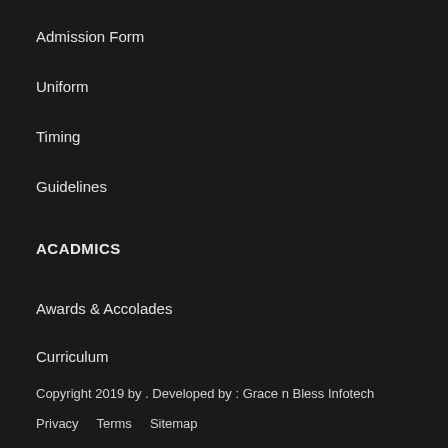Admission Form
Uniform
Timing
Guidelines
ACADMICS
Awards & Accolades
Curriculum
Copyright 2019 by . Developed by : Grace n Bless Infotech
Privacy   Terms   Sitemap